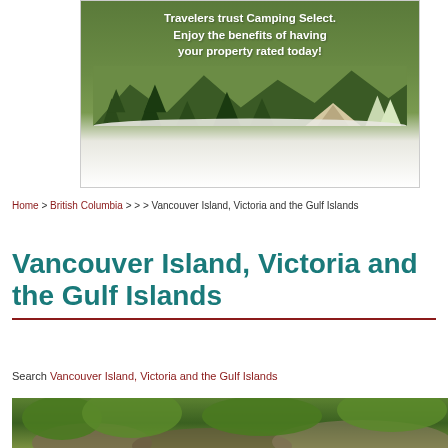[Figure (illustration): Camping Select advertisement banner with green mountain/forest background, white text 'Travelers trust Camping Select. Enjoy the benefits of having your property rated today!', Camping Select logo in dark red, and a 'Learn More' button]
Home > British Columbia > > > Vancouver Island, Victoria and the Gulf Islands
Vancouver Island, Victoria and the Gulf Islands
Search Vancouver Island, Victoria and the Gulf Islands
[Figure (photo): Outdoor landscape photo showing rocky terrain with green trees and vegetation]